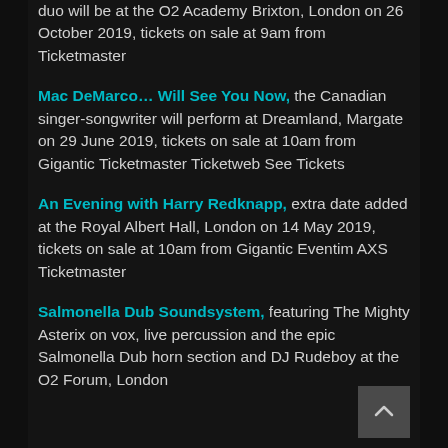duo will be at the O2 Academy Brixton, London on 26 October 2019, tickets on sale at 9am from Ticketmaster
Mac DeMarco… Will See You Now, the Canadian singer-songwriter will perform at Dreamland, Margate on 29 June 2019, tickets on sale at 10am from Gigantic Ticketmaster Ticketweb See Tickets
An Evening with Harry Redknapp, extra date added at the Royal Albert Hall, London on 14 May 2019, tickets on sale at 10am from Gigantic Eventim AXS Ticketmaster
Salmonella Dub Soundsystem, featuring The Mighty Asterix on vox, live percussion and the epic Salmonella Dub horn section and DJ Rudeboy at the O2 Forum, London